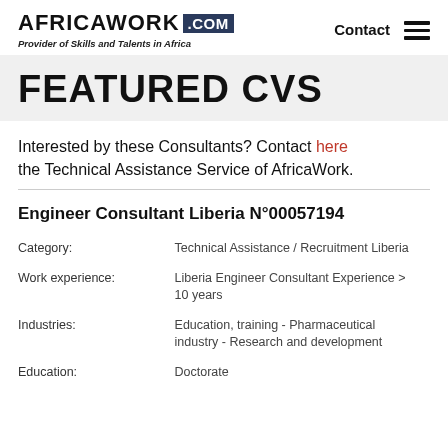AFRICAWORK .COM — Provider of Skills and Talents in Africa — Contact
FEATURED CVS
Interested by these Consultants? Contact here the Technical Assistance Service of AfricaWork.
Engineer Consultant Liberia N°00057194
| Field | Value |
| --- | --- |
| Category: | Technical Assistance / Recruitment Liberia |
| Work experience: | Liberia Engineer Consultant Experience > 10 years |
| Industries: | Education, training - Pharmaceutical industry - Research and development |
| Education: | Doctorate |